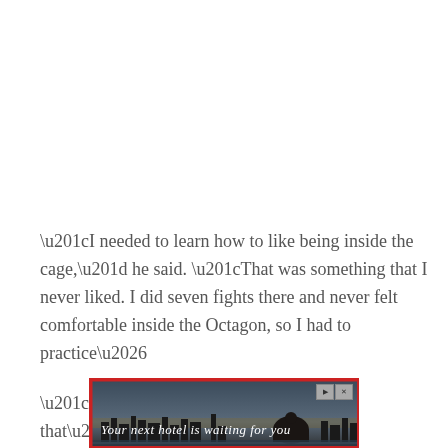“I needed to learn how to like being inside the cage,” he said. “That was something that I never liked. I did seven fights there and never felt comfortable inside the Octagon, so I had to practice…
“I feel I can be very good in this sport, that’s why I keep
[Figure (other): Advertisement banner with dark scenic background showing a city/hotel skyline at dusk. Red border. Text reads 'Your next hotel is waiting for you' in white italic serif font. Play and close button controls in top right corner.]